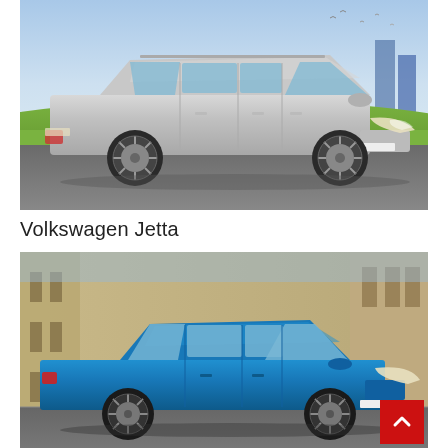[Figure (photo): Silver Volkswagen Golf station wagon (estate) viewed from the side, parked on a road with blue sky, grass, and buildings in the background.]
Volkswagen Jetta
[Figure (photo): Blue Volkswagen Jetta sedan viewed from the side, parked near a stone building. A red scroll-to-top button with a white upward chevron overlays the bottom-right corner.]